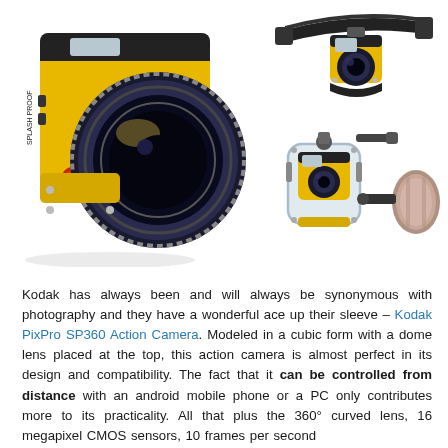[Figure (photo): Three views of the Kodak PixPro SP360 action camera: a large yellow cube-shaped camera with a prominent wide-angle dome lens (left/main), the same camera mounted on a head strap (top right), and the camera in an underwater housing with accessories (bottom right).]
Kodak has always been and will always be synonymous with photography and they have a wonderful ace up their sleeve – Kodak PixPro SP360 Action Camera. Modeled in a cubic form with a dome lens placed at the top, this action camera is almost perfect in its design and compatibility. The fact that it can be controlled from distance with an android mobile phone or a PC only contributes more to its practicality. All that plus the 360° curved lens, 16 megapixel CMOS sensors, 10 frames per second